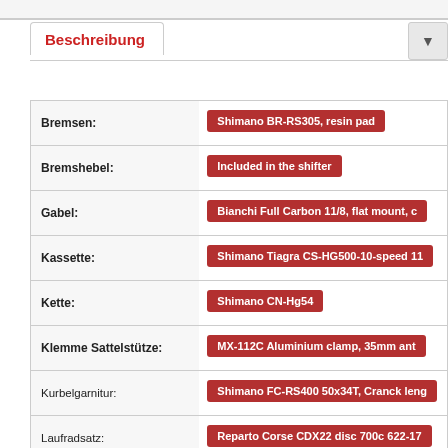Beschreibung
| Kategorie | Wert |
| --- | --- |
| Bremsen: | Shimano BR-RS305, resin pad |
| Bremshebel: | Included in the shifter |
| Gabel: | Bianchi Full Carbon 11/8, flat mount, c |
| Kassette: | Shimano Tiagra CS-HG500-10-speed 11 |
| Kette: | Shimano CN-Hg54 |
| Klemme Sattelstütze: | MX-112C Aluminium clamp, 35mm ant |
| Kurbelgarnitur: | Shimano FC-RS400 50x34T, Cranck leng |
| Laufradsatz: | Reparto Corse CDX22 disc 700c 622-17 |